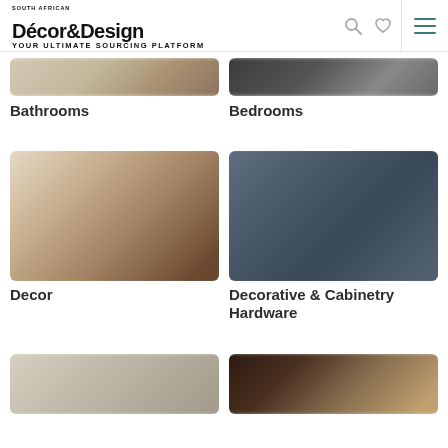Décor&Design — Your Ultimate Sourcing Platform
[Figure (photo): Blurred bathroom interior photo, cropped at top]
[Figure (photo): Blurred dark bedroom interior photo, cropped at top]
Bathrooms
Bedrooms
[Figure (photo): Blurred decor interior room photo]
[Figure (photo): Blurred decorative and cabinetry hardware photo in dark blue-grey tones]
Decor
Decorative & Cabinetry Hardware
[Figure (photo): Blurred light-toned interior photo, partially visible at bottom]
[Figure (photo): Blurred dark warm-toned interior photo, partially visible at bottom]